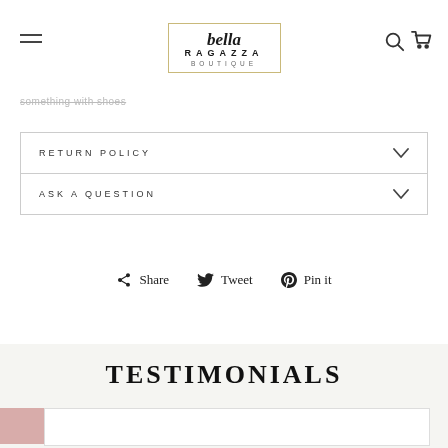bella RAGAZZA BOUTIQUE
...something with shoes
RETURN POLICY
ASK A QUESTION
Share  Tweet  Pin it
TESTIMONIALS